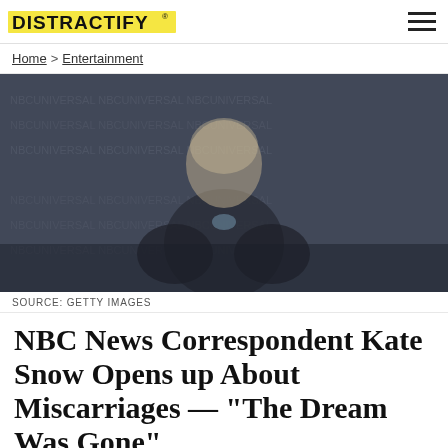DISTRACTIFY
Home > Entertainment
[Figure (photo): Blurred photo of a person (Kate Snow) standing in front of a dark background with light-colored repeated text/logo pattern. The subject is wearing a dark outfit.]
SOURCE: GETTY IMAGES
NBC News Correspondent Kate Snow Opens up About Miscarriages — "The Dream Was Gone"